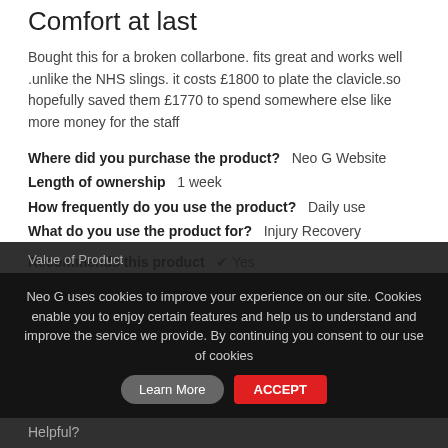Comfort at last
Bought this for a broken collarbone. fits great and works well .unlike the NHS slings. it costs £1800 to plate the clavicle.so hopefully saved them £1770 to spend somewhere else like more money for the staff
Where did you purchase the product?   Neo G Website
Length of ownership   1 week
How frequently do you use the product?   Daily use
What do you use the product for?   Injury Recovery
Recommends this product   ✔ Yes
Quality of Product
[Figure (other): Full blue rating bar for Quality of Product]
Value of Product
Neo G uses cookies to improve your experience on our site. Cookies enable you to enjoy certain features and help us to understand and improve the service we provide. By continuing you consent to our use of cookies
Helpful?